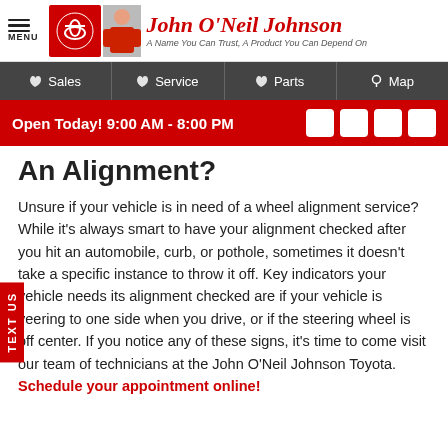MENU | John O'Neil Johnson | A Name You Can Trust, A Product You Can Depend On
Sales | Service | Parts | Map
Open Today! 9:00 AM - 8:00 PM
An Alignment?
Unsure if your vehicle is in need of a wheel alignment service? While it's always smart to have your alignment checked after you hit an automobile, curb, or pothole, sometimes it doesn't take a specific instance to throw it off. Key indicators your vehicle needs its alignment checked are if your vehicle is veering to one side when you drive, or if the steering wheel is off center. If you notice any of these signs, it's time to come visit our team of technicians at the John O'Neil Johnson Toyota. Schedule your appointment online!